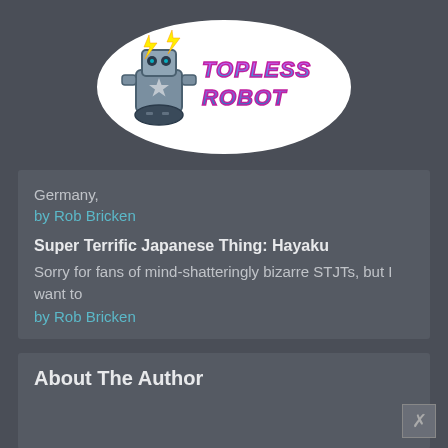[Figure (logo): Topless Robot logo — stylized robot character with lightning bolts and the text 'TOPLESS ROBOT' in neon pink/cyan retro lettering on a white sticker-style badge]
Germany,
by Rob Bricken
Super Terrific Japanese Thing: Hayaku
Sorry for fans of mind-shatteringly bizarre STJTs, but I want to
by Rob Bricken
About The Author